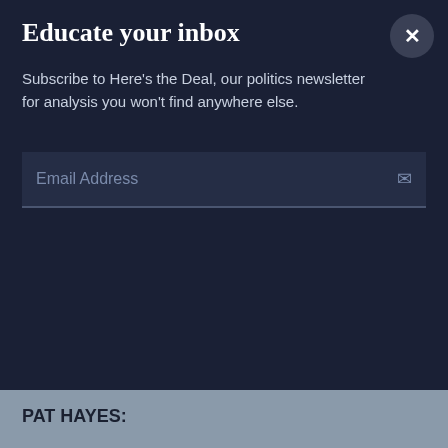Educate your inbox
Subscribe to Here's the Deal, our politics newsletter for analysis you won't find anywhere else.
Email Address
expanding the talent pool to include some 36 million Americans who got into college, but never finished.
PAT HAYES:
Are they to be thrown away? Why can't we understand where they are? Why can't we get them to some level and utilize them?